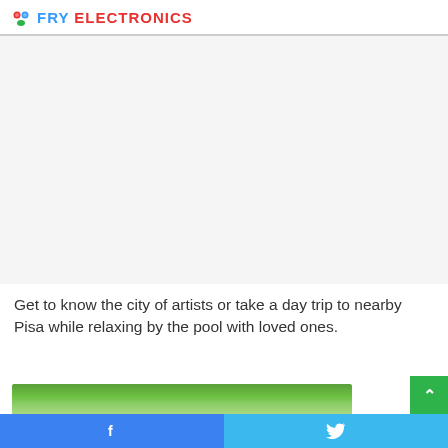FRY ELECTRONICS
[Figure (other): Large white/grey advertisement area placeholder]
Get to know the city of artists or take a day trip to nearby Pisa while relaxing by the pool with loved ones.
[Figure (photo): Partial photo of a person visible at the bottom of the page, with a green background]
Facebook and Twitter social sharing buttons